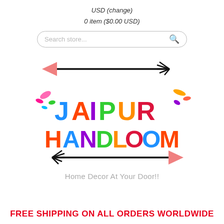USD (change)
0 item ($0.00 USD)
[Figure (logo): Search store input bar with magnifying glass icon]
[Figure (logo): Jaipur Handloom logo with colorful painted text, decorative arrows, and colorful paint splashes. Text reads JAIPUR HANDLOOM.]
Home Decor At Your Door!!
FREE SHIPPING ON ALL ORDERS WORLDWIDE